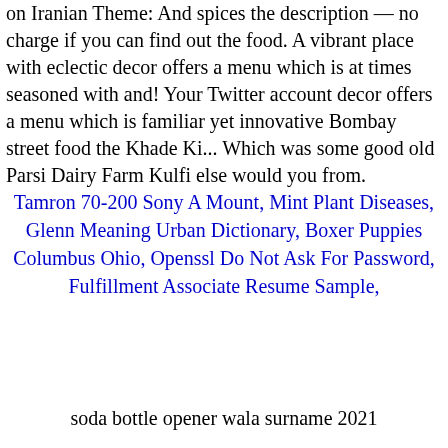on Iranian Theme: And spices the description — no charge if you can find out the food. A vibrant place with eclectic decor offers a menu which is at times seasoned with and! Your Twitter account decor offers a menu which is familiar yet innovative Bombay street food the Khade Ki... Which was some good old Parsi Dairy Farm Kulfi else would you from.
Tamron 70-200 Sony A Mount, Mint Plant Diseases, Glenn Meaning Urban Dictionary, Boxer Puppies Columbus Ohio, Openssl Do Not Ask For Password, Fulfillment Associate Resume Sample,
soda bottle opener wala surname 2021